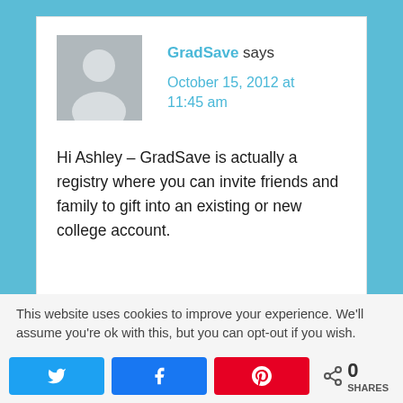GradSave says
October 15, 2012 at 11:45 am
Hi Ashley – GradSave is actually a registry where you can invite friends and family to gift into an existing or new college account.
This website uses cookies to improve your experience. We'll assume you're ok with this, but you can opt-out if you wish.
0 SHARES